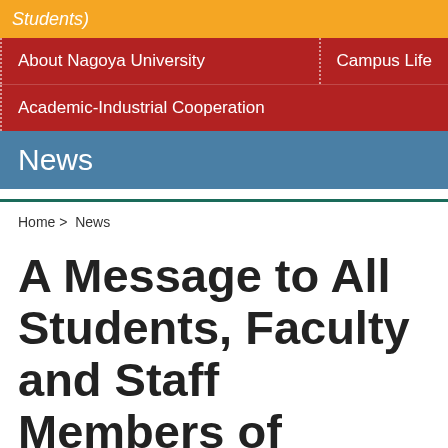Students)
About Nagoya University
Campus Life
Academic-Industrial Cooperation
News
Home > News
A Message to All Students, Faculty and Staff Members of Nagoya University